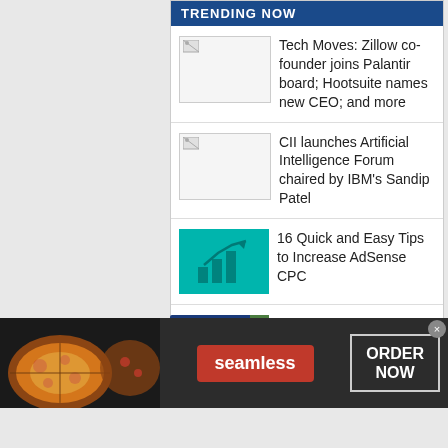TRENDING NOW
Tech Moves: Zillow co-founder joins Palantir board; Hootsuite names new CEO; and more
CII launches Artificial Intelligence Forum chaired by IBM's Sandip Patel
16 Quick and Easy Tips to Increase AdSense CPC
Detailed: Here's How Iran Spies on Dissidents with
[Figure (screenshot): Seamless food delivery advertisement banner with pizza image, Seamless logo button, and ORDER NOW button]
infolinks